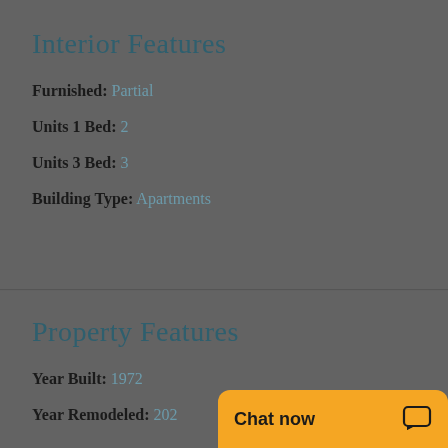Interior Features
Furnished: Partial
Units 1 Bed: 2
Units 3 Bed: 3
Building Type: Apartments
Property Features
Year Built: 1972
Year Remodeled: 202[cut off]